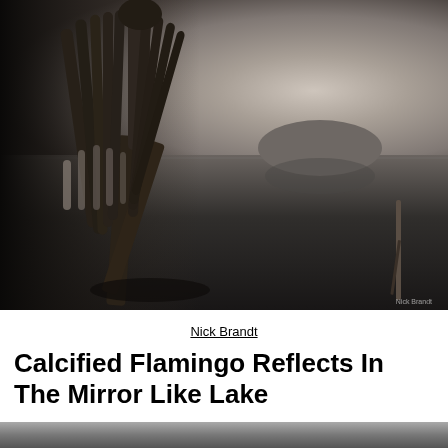[Figure (photo): Black and white photograph of a calcified flamingo standing on rocky surface at the edge of a mirror-like lake, with a mountain reflected in the still water and another calcified flamingo in the background. Photo by Nick Brandt.]
Nick Brandt
Calcified Flamingo Reflects In The Mirror Like Lake
[Figure (photo): Partial view of another black and white photograph at the bottom of the page.]